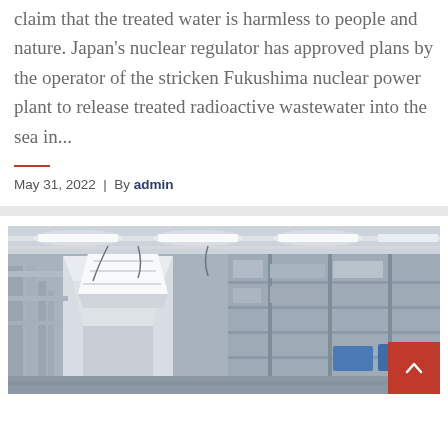claim that the treated water is harmless to people and nature. Japan's nuclear regulator has approved plans by the operator of the stricken Fukushima nuclear power plant to release treated radioactive wastewater into the sea in...
May 31, 2022 | By admin
[Figure (photo): Interior of an industrial facility, likely a nuclear or water treatment plant, showing equipment, pipes, conduits, and machinery under fluorescent lighting. A large white angular component is prominent in the foreground.]